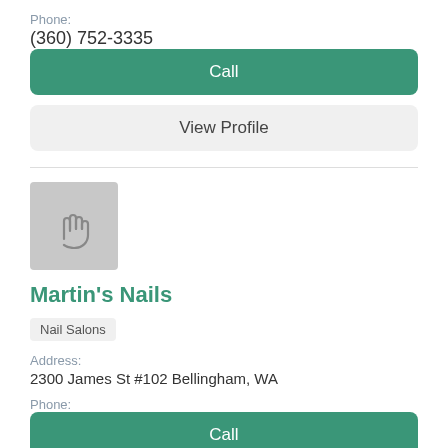Phone:
(360) 752-3335
Call
View Profile
[Figure (illustration): Gray placeholder box with a hand/pointer cursor icon]
Martin's Nails
Nail Salons
Address:
2300 James St #102 Bellingham, WA
Phone:
(360) 734-5222
Call